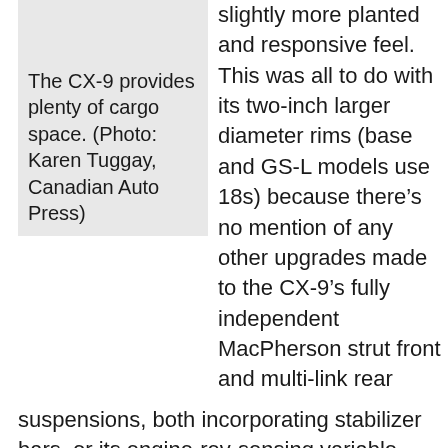[Figure (photo): Photo box with gray background showing cargo space of CX-9 (image cropped/not visible), labeled with caption text below.]
The CX-9 provides plenty of cargo space. (Photo: Karen Tuggay, Canadian Auto Press)
slightly more planted and responsive feel. This was all to do with its two-inch larger diameter rims (base and GS-L models use 18s) because there's no mention of any other upgrades made to the CX-9's fully independent MacPherson strut front and multi-link rear suspensions, both incorporating stabilizer bars, or its engine-rev-sensing variable power assist rack-and-pinion steering.
To be honest, I initially didn't find the CX-9 very sporty, because it's sole four-cylinder engine is set up for fuel-efficiency first and foremost, causing it to download